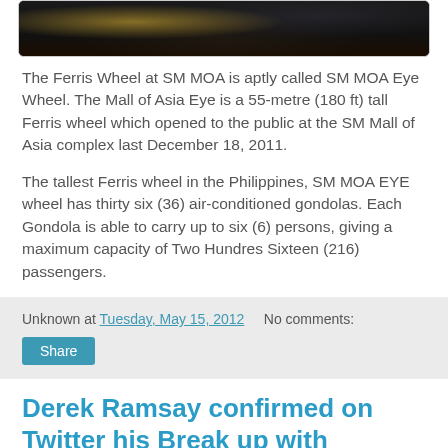[Figure (photo): Dark photo showing people at SM MOA, with yellow lighting visible in upper portion]
The Ferris Wheel at SM MOA is aptly called SM MOA Eye Wheel. The Mall of Asia Eye is a 55-metre (180 ft) tall Ferris wheel which opened to the public at the SM Mall of Asia complex last December 18, 2011.
The tallest Ferris wheel in the Philippines, SM MOA EYE wheel has thirty six (36) air-conditioned gondolas. Each Gondola is able to carry up to six (6) persons, giving a maximum capacity of Two Hundres Sixteen (216) passengers.
Unknown at Tuesday, May 15, 2012    No comments:
Derek Ramsay confirmed on Twitter his Break up with Angelica Panganiban